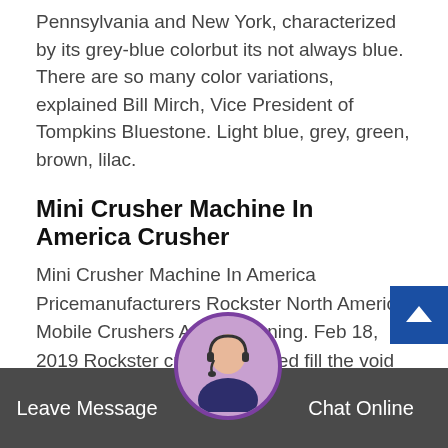Pennsylvania and New York, characterized by its grey-blue colorbut its not always blue. There are so many color variations, explained Bill Mirch, Vice President of Tompkins Bluestone. Light blue, grey, green, brown, lilac.
Mini Crusher Machine In America Crusher
Mini Crusher Machine In America Pricemanufacturers Rockster North America Mobile Crushers And Screening. Feb 18, 2019 Rockster crushers helped fill the void in the fleet as we didn't have a closed circuit machine capable of producing spec material, and the fact that the machine can be switched from jaw to impactor made it an even easier decision for our company
Metso global webs
Metso Outotec is a frontrunner insustainable minerals